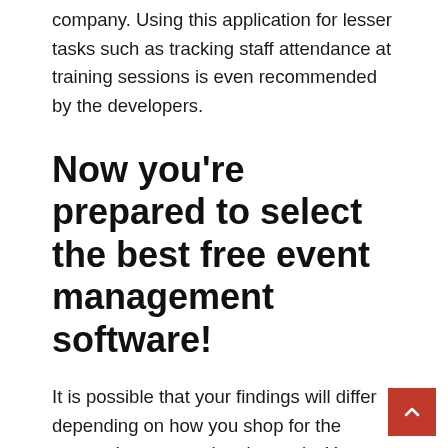company. Using this application for lesser tasks such as tracking staff attendance at training sessions is even recommended by the developers.
Now you're prepared to select the best free event management software!
It is possible that your findings will differ depending on how you shop for the appropriate event planning tools. You should consider employing one or more of these tools, regardless of whether you require a hyper-specific tool for a particular event task